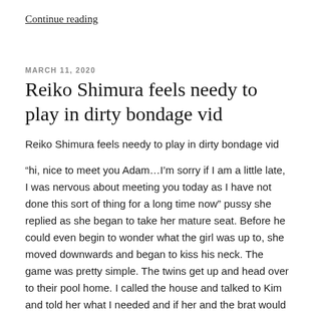Continue reading
MARCH 11, 2020
Reiko Shimura feels needy to play in dirty bondage vid
Reiko Shimura feels needy to play in dirty bondage vid
“hi, nice to meet you Adam…I’m sorry if I am a little late, I was nervous about meeting you today as I have not done this sort of thing for a long time now” pussy she replied as she began to take her mature seat. Before he could even begin to wonder what the girl was up to, she moved downwards and began to kiss his neck. The game was pretty simple. The twins get up and head over to their pool home. I called the house and talked to Kim and told her what I needed and if her and the brat would do sexy